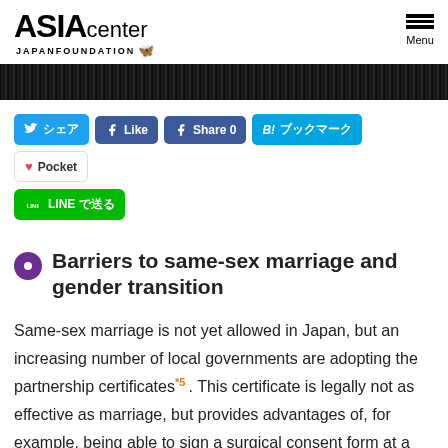ASIA center JAPAN FOUNDATION — Menu
[Figure (photo): Black banner/header image strip]
Twitter シェア | Like | Share 0 | B! ブックマーク | Pocket | LINE で送る
Barriers to same-sex marriage and gender transition
Same-sex marriage is not yet allowed in Japan, but an increasing number of local governments are adopting the partnership certificates*5. This certificate is legally not as effective as marriage, but provides advantages of, for example, being able to sign a surgical consent form at a